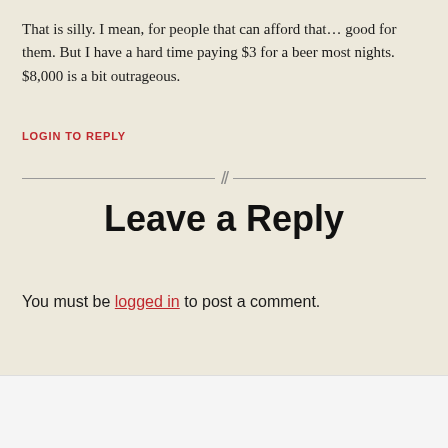That is silly. I mean, for people that can afford that… good for them. But I have a hard time paying $3 for a beer most nights. $8,000 is a bit outrageous.
LOGIN TO REPLY
Leave a Reply
You must be logged in to post a comment.
© 2022 Foodbeast   Up ↑